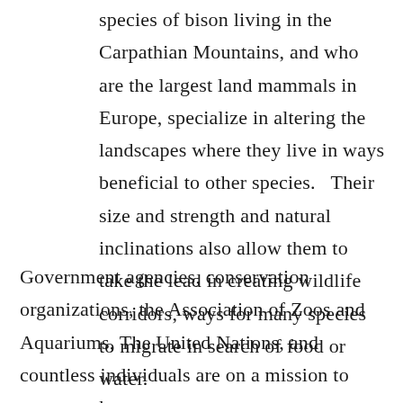species of bison living in the Carpathian Mountains, and who are the largest land mammals in Europe, specialize in altering the landscapes where they live in ways beneficial to other species.   Their size and strength and natural inclinations also allow them to take the lead in creating wildlife corridors, ways for many species to migrate in search of food or water.
Government agencies, conservation organizations, the Association of Zoos and Aquariums, The United Nations, and countless individuals are on a mission to preserve the